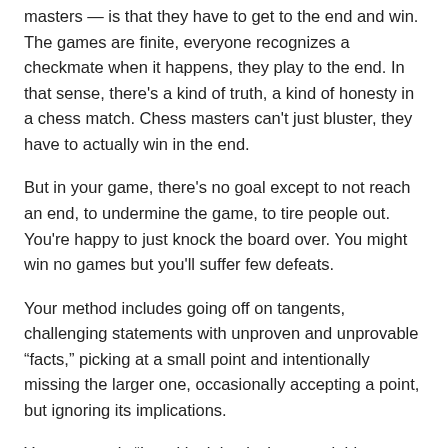masters — is that they have to get to the end and win. The games are finite, everyone recognizes a checkmate when it happens, they play to the end. In that sense, there's a kind of truth, a kind of honesty in a chess match. Chess masters can't just bluster, they have to actually win in the end.
But in your game, there's no goal except to not reach an end, to undermine the game, to tire people out. You're happy to just knock the board over. You might win no games but you'll suffer few defeats.
Your method includes going off on tangents, challenging statements with unproven and unprovable “facts,” picking at a small point and intentionally missing the larger one, occasionally accepting a point, but ignoring its implications.
Your mantra is “Israel is doing its best, and things are improving. Israel isn’t perfect, but what country is?